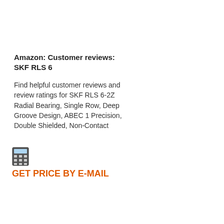Amazon: Customer reviews: SKF RLS 6
Find helpful customer reviews and review ratings for SKF RLS 6-2Z Radial Bearing, Single Row, Deep Groove Design, ABEC 1 Precision, Double Shielded, Non-Contact
GET PRICE BY E-MAIL